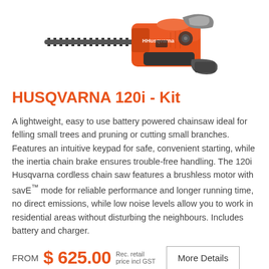[Figure (photo): Husqvarna 120i battery-powered chainsaw with orange body and chain bar, shown from the side]
HUSQVARNA 120i - Kit
A lightweight, easy to use battery powered chainsaw ideal for felling small trees and pruning or cutting small branches. Features an intuitive keypad for safe, convenient starting, while the inertia chain brake ensures trouble-free handling. The 120i Husqvarna cordless chain saw features a brushless motor with savE™ mode for reliable performance and longer running time, no direct emissions, while low noise levels allow you to work in residential areas without disturbing the neighbours. Includes battery and charger.
FROM  $ 625.00  Rec. retail price incl GST
More Details